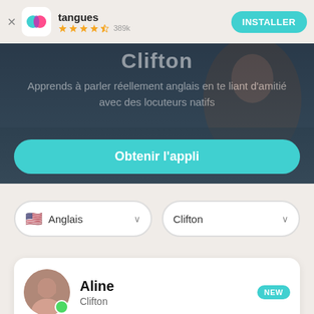tangues · ★★★★½ 389k · INSTALLER
[Figure (screenshot): App hero banner showing 'Clifton' heading with outdoor background photo. Text: 'Apprends à parler réellement anglais en te liant d'amitié avec des locuteurs natifs'. Teal button: 'Obtenir l'appli']
Anglais (dropdown) · Clifton (dropdown)
Aline · Clifton · NEW badge